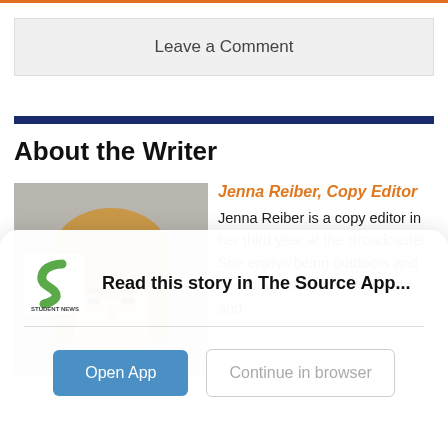Leave a Comment
About the Writer
[Figure (photo): Headshot photo of Jenna Reiber, a young woman with blonde hair, cropped at forehead, gray background]
Jenna Reiber, Copy Editor
Jenna Reiber is a copy editor in her third year at the Broadcaster. She enjoys being outdoors and spending time with her friends and
[Figure (logo): Student News Source logo — green S shape with 'STUDENT NEWS SOURCE' text below]
Read this story in The Source App...
Open App
Continue in browser